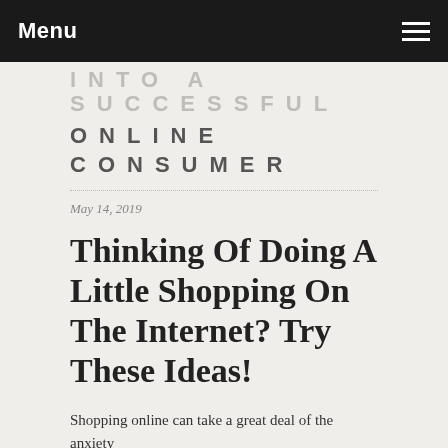Menu
INTO A SUCCESSFUL
ONLINE CONSUMER
May 14, 2019
Thinking Of Doing A Little Shopping On The Internet? Try These Ideas!
Shopping online can take a great deal of the anxiety